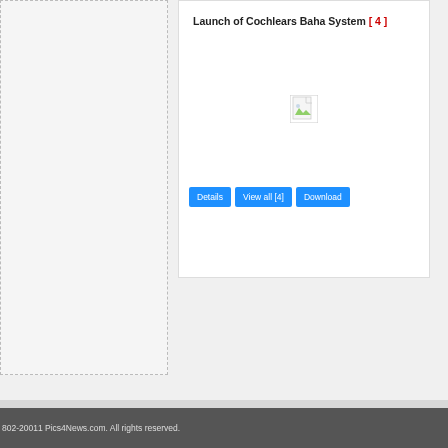[Figure (other): Left panel with dashed border, empty content area]
Launch of Cochlears Baha System [ 4 ]
[Figure (photo): Broken/missing image placeholder icon]
Details   View all [4]   Download
802-20011 Pics4News.com. All rights reserved.